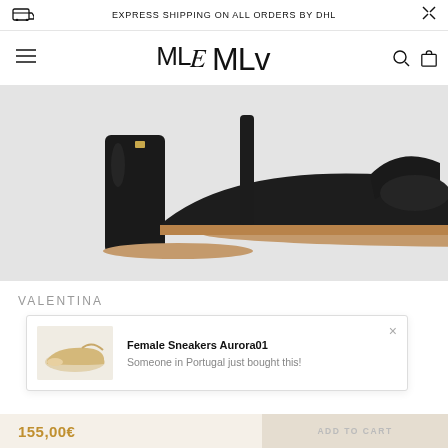EXPRESS SHIPPING ON ALL ORDERS BY DHL
[Figure (logo): MLv brand logo text in serif-like custom font]
[Figure (photo): Black block-heel sandal shoe on a light grey background, side profile view showing patent heel with gold accent and tan sole]
VALENTINA
[Figure (photo): Notification popup showing a gold sneaker image (Female Sneakers Aurora01) with text: Someone in Portugal just bought this!]
Female Sneakers Aurora01
Someone in Portugal just bought this!
155,00€
ADD TO CART